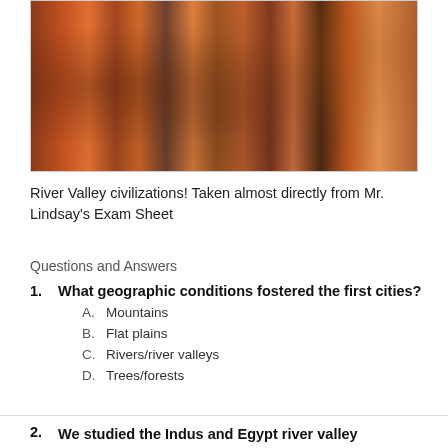[Figure (illustration): Painting of historical figures in colorful robes, appears to be a Renaissance-style artwork depicting River Valley civilizations.]
River Valley civilizations! Taken almost directly from Mr. Lindsay's Exam Sheet
Questions and Answers
1. What geographic conditions fostered the first cities?
  A. Mountains
  B. Flat plains
  C. Rivers/river valleys
  D. Trees/forests
2. We studied the Indus and Egypt river valley civilizations. What were the other 2? (in alphabetical order seperated with a comma)